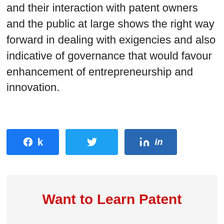and their interaction with patent owners and the public at large shows the right way forward in dealing with exigencies and also indicative of governance that would favour enhancement of entrepreneurship and innovation.
[Figure (infographic): Three social share buttons: Facebook (blue, f icon), Twitter (light blue, bird icon), LinkedIn (dark blue, in icon)]
Want to Learn Patent